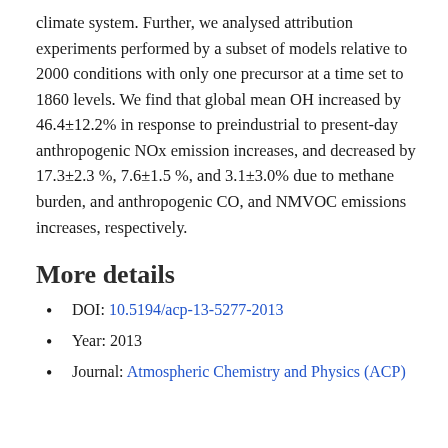climate system. Further, we analysed attribution experiments performed by a subset of models relative to 2000 conditions with only one precursor at a time set to 1860 levels. We find that global mean OH increased by 46.4±12.2% in response to preindustrial to present-day anthropogenic NOx emission increases, and decreased by 17.3±2.3 %, 7.6±1.5 %, and 3.1±3.0% due to methane burden, and anthropogenic CO, and NMVOC emissions increases, respectively.
More details
DOI: 10.5194/acp-13-5277-2013
Year: 2013
Journal: Atmospheric Chemistry and Physics (ACP)